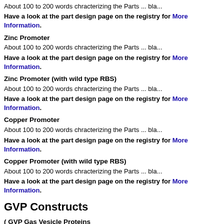About 100 to 200 words chracterizing the Parts ... bla...
Have a look at the part design page on the registry for More Information.
Zinc Promoter
About 100 to 200 words chracterizing the Parts ... bla...
Have a look at the part design page on the registry for More Information.
Zinc Promoter (with wild type RBS)
About 100 to 200 words chracterizing the Parts ... bla...
Have a look at the part design page on the registry for More Information.
Copper Promoter
About 100 to 200 words chracterizing the Parts ... bla...
Have a look at the part design page on the registry for More Information.
Copper Promoter (with wild type RBS)
About 100 to 200 words chracterizing the Parts ... bla...
Have a look at the part design page on the registry for More Information.
GVP Constructs
( GVP Gas Vesicle Proteins
GVP consists of 6064 base pairs. It's Backbone is With a resistance against Am
Have a look at the part design page on the registry for More Information.
GVP regulated by low constitutive promoter